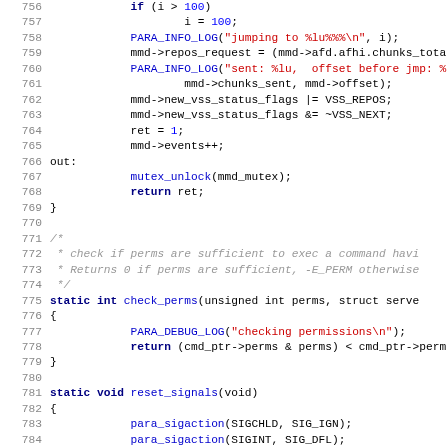[Figure (screenshot): Source code listing in C showing lines 756-787 with syntax highlighting. Line numbers in gray on left. Keywords in dark blue bold, function names in blue, string literals in red, numeric literals in blue. Shows code for repository request handling, check_perms function, and reset_signals function.]